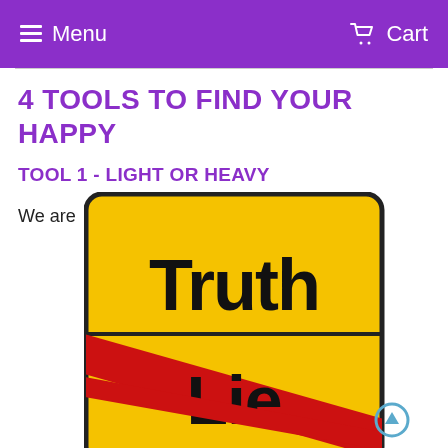Menu  Cart
4 TOOLS TO FIND YOUR HAPPY
TOOL 1 - LIGHT OR HEAVY
We are
[Figure (illustration): A German-style road sign with yellow background and black border, rounded corners. Top half reads 'Truth' in large bold black text. Bottom half reads 'Lie' in large bold black text with a thick red diagonal stripe crossing through it (city limits exit style).]